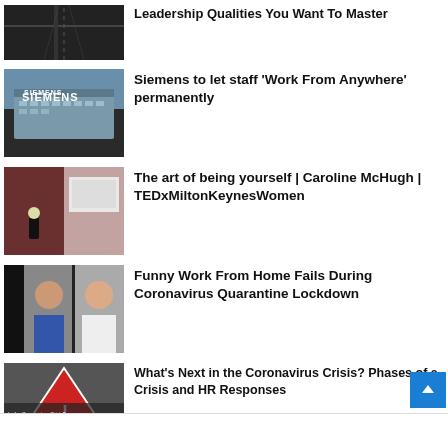[Figure (photo): Top-down road/highway photo (partially cropped at top)]
Leadership Qualities You Want To Master
[Figure (photo): Siemens building exterior with sign]
Siemens to let staff ‘Work From Anywhere’ permanently
[Figure (photo): Person presenting at a TEDx event on stage]
The art of being yourself | Caroline McHugh | TEDxMiltonKeynesWomen
[Figure (photo): Split-screen video thumbnail with two people]
Funny Work From Home Fails During Coronavirus Quarantine Lockdown
[Figure (photo): Crisis presentation slide with warning triangle and text]
What’s Next in the Coronavirus Crisis? Phases of a Crisis and HR Responses